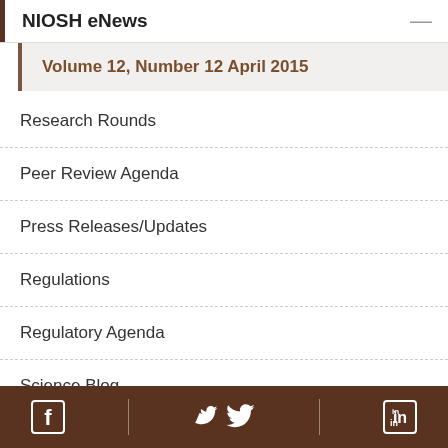NIOSH eNews
Volume 12, Number 12 April 2015
Research Rounds
Peer Review Agenda
Press Releases/Updates
Regulations
Regulatory Agenda
Science Blog
Facebook | Twitter | LinkedIn